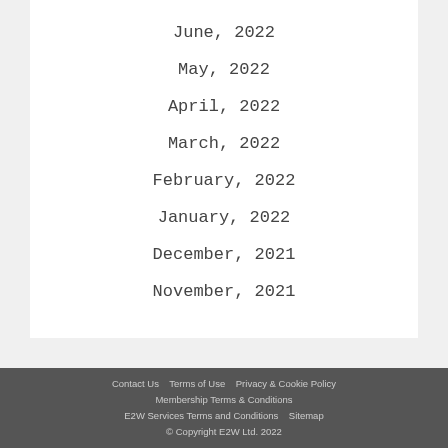June, 2022
May, 2022
April, 2022
March, 2022
February, 2022
January, 2022
December, 2021
November, 2021
Contact Us   Terms of Use   Privacy & Cookie Policy   Membership Terms & Conditions   E2W Services Terms and Conditions   Sitemap   © Copyright E2W Ltd. 2022